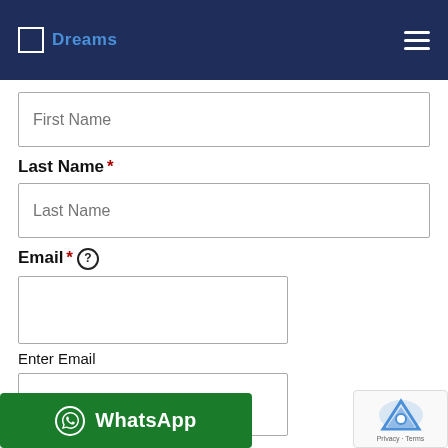Dreams (navigation header with logo and hamburger menu)
First Name
Last Name *
Last Name
Email * (help icon)
Enter Email
Confirm Email
[Figure (screenshot): WhatsApp button with green background]
[Figure (other): reCAPTCHA badge with Privacy - Terms]